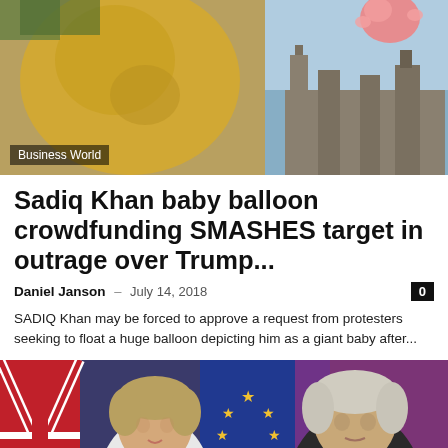[Figure (photo): Two side-by-side news photos: left shows a large golden Trump baby blimp balloon; right shows a pink baby balloon floating above the Houses of Parliament, London]
Business World
Sadiq Khan baby balloon crowdfunding SMASHES target in outrage over Trump...
Daniel Janson · July 14, 2018  0
SADIQ Khan may be forced to approve a request from protesters seeking to float a huge balloon depicting him as a giant baby after...
[Figure (photo): Photo of Theresa May speaking at a podium gesturing with her hand, and David Davis on the right, with EU and Union Jack flags in the background]